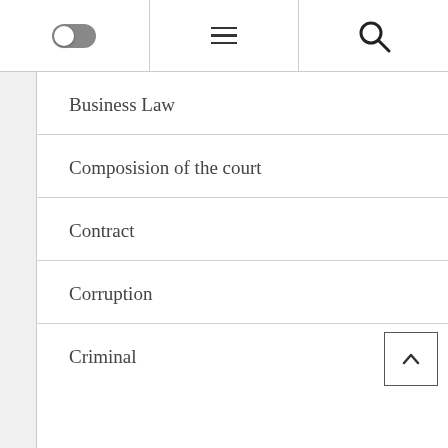[Figure (screenshot): Navigation bar with toggle switch on left, hamburger menu in center, and search icon on right]
Business Law
Composision of the court
Contract
Corruption
Criminal